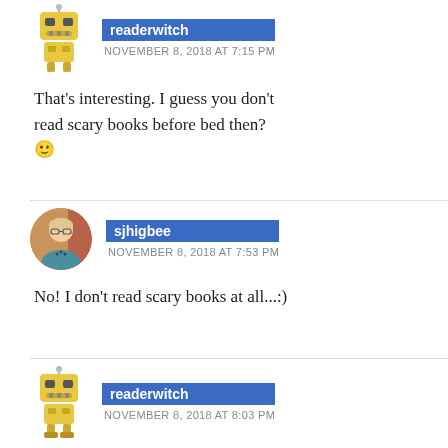[Figure (illustration): Yellow robot avatar icon for readerwitch]
readerwitch
NOVEMBER 8, 2018 AT 7:15 PM
That’s interesting. I guess you don’t read scary books before bed then? 🙂
[Figure (photo): Circular profile photo of sjhigbee, a woman with blond hair and glasses]
sjhigbee
NOVEMBER 8, 2018 AT 7:53 PM
No! I don’t read scary books at all...:)
[Figure (illustration): Yellow robot avatar icon for readerwitch]
readerwitch
NOVEMBER 8, 2018 AT 8:03 PM